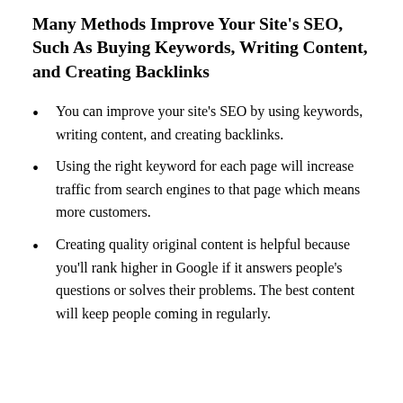Many Methods Improve Your Site's SEO, Such As Buying Keywords, Writing Content, and Creating Backlinks
You can improve your site's SEO by using keywords, writing content, and creating backlinks.
Using the right keyword for each page will increase traffic from search engines to that page which means more customers.
Creating quality original content is helpful because you'll rank higher in Google if it answers people's questions or solves their problems. The best content will keep people coming in regularly.